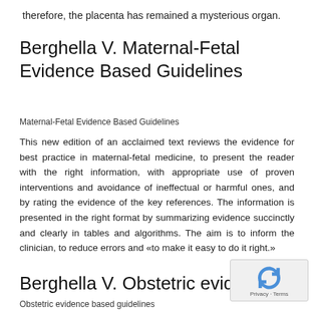therefore, the placenta has remained a mysterious organ.
Berghella V. Maternal-Fetal Evidence Based Guidelines
Maternal-Fetal Evidence Based Guidelines
This new edition of an acclaimed text reviews the evidence for best practice in maternal-fetal medicine, to present the reader with the right information, with appropriate use of proven interventions and avoidance of ineffectual or harmful ones, and by rating the evidence of the key references. The information is presented in the right format by summarizing evidence succinctly and clearly in tables and algorithms. The aim is to inform the clinician, to reduce errors and «to make it easy to do it right.»
Berghella V. Obstetric evidence based guide
Obstetric evidence based guidelines